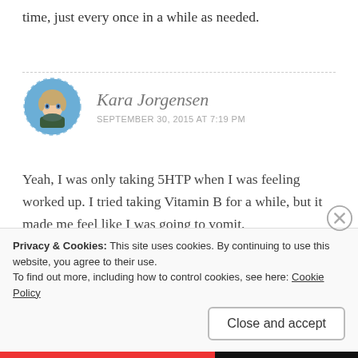time, just every once in a while as needed.
Kara Jorgensen
SEPTEMBER 30, 2015 AT 7:19 PM
[Figure (illustration): Circular avatar illustration of Kara Jorgensen with dashed border, showing an anime-style character with short hair and a scarf on a blue background.]
Yeah, I was only taking 5HTP when I was feeling worked up. I tried taking Vitamin B for a while, but it made me feel like I was going to vomit.
Privacy & Cookies: This site uses cookies. By continuing to use this website, you agree to their use.
To find out more, including how to control cookies, see here: Cookie Policy
Close and accept